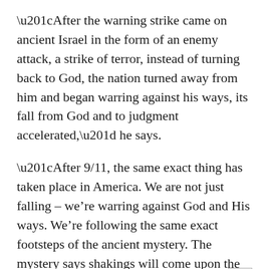“After the warning strike came on ancient Israel in the form of an enemy attack, a strike of terror, instead of turning back to God, the nation turned away from him and began warring against his ways, its fall from God and to judgment accelerated,” he says.
“After 9/11, the same exact thing has taken place in America. We are not just falling – we’re warring against God and His ways. We’re following the same exact footsteps of the ancient mystery. The mystery says shakings will come upon the land.”